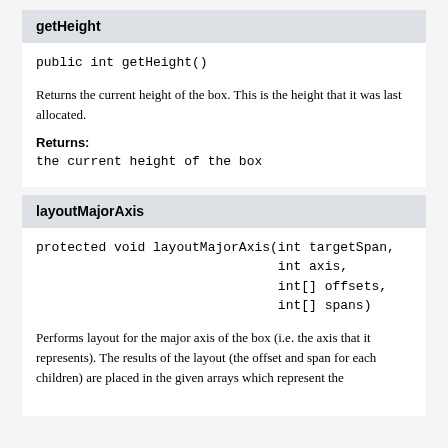getHeight
public int getHeight()
Returns the current height of the box. This is the height that it was last allocated.
Returns:
the current height of the box
layoutMajorAxis
protected void layoutMajorAxis(int targetSpan,
                               int axis,
                               int[] offsets,
                               int[] spans)
Performs layout for the major axis of the box (i.e. the axis that it represents). The results of the layout (the offset and span for each children) are placed in the given arrays which represent the